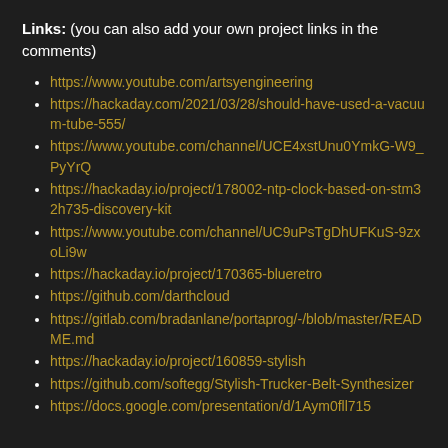Links: (you can also add your own project links in the comments)
https://www.youtube.com/artsyengineering
https://hackaday.com/2021/03/28/should-have-used-a-vacuum-tube-555/
https://www.youtube.com/channel/UCE4xstUnu0YmkG-W9_PyYrQ
https://hackaday.io/project/178002-ntp-clock-based-on-stm32h735-discovery-kit
https://www.youtube.com/channel/UC9uPsTgDhUFKuS-9zxoLi9w
https://hackaday.io/project/170365-blueretro
https://github.com/darthcloud
https://gitlab.com/bradanlane/portaprog/-/blob/master/README.md
https://hackaday.io/project/160859-stylish
https://github.com/softegg/Stylish-Trucker-Belt-Synthesizer
https://docs.google.com/presentation/d/1Aym0fll715